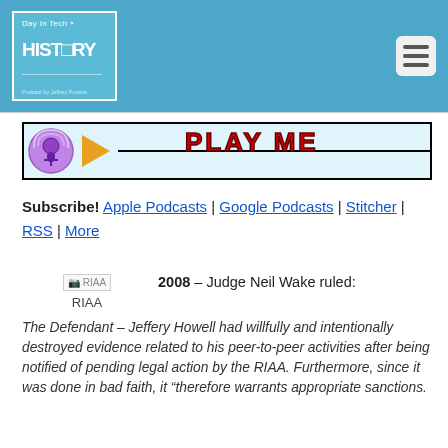[Figure (logo): Day In Tech HISTORY podcast logo on blue background with white border, monitor icon]
[Figure (screenshot): Audio player bar with podcast microphone icon, orange play button triangle, horizontal line, and PLAY ME text in red graffiti style font]
Subscribe! Apple Podcasts | Google Podcasts | Stitcher | RSS | More
[Figure (photo): RIAA logo image placeholder]
2008 – Judge Neil Wake ruled:
The Defendant – Jeffery Howell had willfully and intentionally destroyed evidence related to his peer-to-peer activities after being notified of pending legal action by the RIAA. Furthermore, since it was done in bad faith, it "therefore warrants appropriate sanctions.